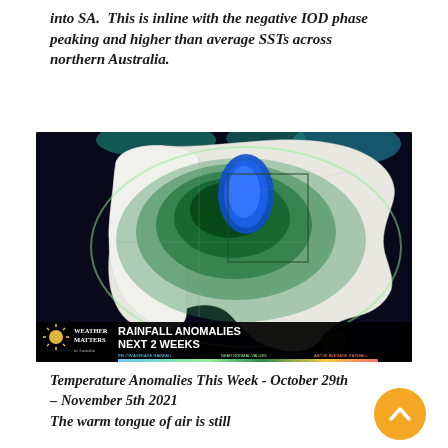into SA. This is inline with the negative IOD phase peaking and higher than average SSTs across northern Australia.
[Figure (map): Rainfall anomalies map of Australia for next 2 weeks, showing green contour bands indicating above-average rainfall across northern and central Australia, with a blue high-anomaly region over the Northern Territory/Queensland border area. Weather Matters logo and color scale bar at bottom.]
Temperature Anomalies This Week - October 29th - November 5th 2021
The warm tongue of air is still